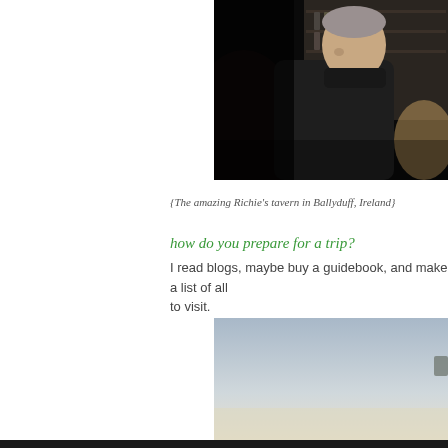[Figure (photo): Dark interior photo of a man (older, grey hair) in a dark turtleneck sweater standing in what appears to be a pub or tavern with shelves of bottles in the background. A dark silhouette is visible in the foreground left.]
{The amazing Richie’s tavern in Ballyduff, Ireland}
how do you prepare for a trip?
I read blogs, maybe buy a guidebook, and make a list of all to visit.
[Figure (photo): Outdoor landscape photo with a pale blue-grey sky and a light sandy/beige lower portion, possibly a beach or open landscape scene.]